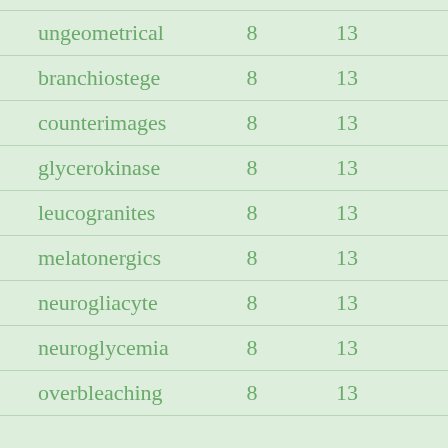| ungeometrical | 8 | 13 |
| branchiostege | 8 | 13 |
| counterimages | 8 | 13 |
| glycerokinase | 8 | 13 |
| leucogranites | 8 | 13 |
| melatonergics | 8 | 13 |
| neurogliacyte | 8 | 13 |
| neuroglycemia | 8 | 13 |
| overbleaching | 8 | 13 |